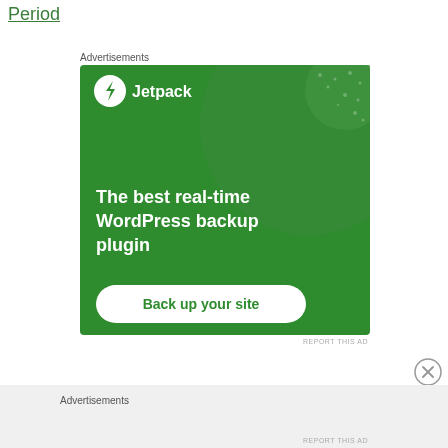Period
Advertisements
[Figure (screenshot): Jetpack advertisement banner with green background. Shows Jetpack logo (lightning bolt in circle) and text: 'The best real-time WordPress backup plugin' with a 'Back up your site' button.]
REPORT THIS AD
Advertisements
REPORT THIS AD